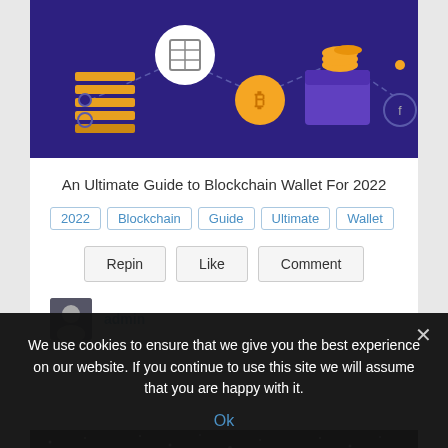[Figure (illustration): Blockchain themed illustration with dark purple/indigo background showing blockchain nodes, a wallet, coins, and connected dashed lines]
An Ultimate Guide to Blockchain Wallet For 2022
Tags: 2022, Blockchain, Guide, Ultimate, Wallet
Repin | Like | Comment
admin
[Figure (photo): Night sky scene with stars and what appears to be a structure silhouette]
We use cookies to ensure that we give you the best experience on our website. If you continue to use this site we will assume that you are happy with it.
Ok